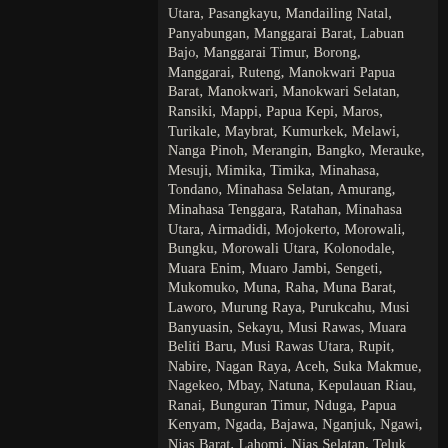Utara, Pasangkayu, Mandailing Natal, Panyabungan, Manggarai Barat, Labuan Bajo, Manggarai Timur, Borong, Manggarai, Ruteng, Manokwari Papua Barat, Manokwari, Manokwari Selatan, Ransiki, Mappi, Papua Kepi, Maros, Turikale, Maybrat, Kumurkek, Melawi, Nanga Pinoh, Merangin, Bangko, Merauke, Mesuji, Mimika, Timika, Minahasa, Tondano, Minahasa Selatan, Amurang, Minahasa Tenggara, Ratahan, Minahasa Utara, Airmadidi, Mojokerto, Morowali, Bungku, Morowali Utara, Kolonodale, Muara Enim, Muaro Jambi, Sengeti, Mukomuko, Muna, Raha, Muna Barat, Laworo, Murung Raya, Purukcahu, Musi Banyuasin, Sekayu, Musi Rawas, Muara Beliti Baru, Musi Rawas Utara, Rupit, Nabire, Nagan Raya, Aceh, Suka Makmue, Nagekeo, Mbay, Natuna, Kepulauan Riau, Ranai, Bunguran Timur, Nduga, Papua Kenyam, Ngada, Bajawa, Nganjuk, Ngawi, Nias Barat, Lahomi, Nias Selatan, Teluk Dalam, Nias Utara, Lotu, Nias, Gunung Sitoli, Nunukan, Ogan Ilir, Indralaya, Ogan Komering Ilir, Kota Kayu Agung, Ogan Komering Ulu Selatan, Muaradua, Ogan Komering Ulu Timur, Martapura,